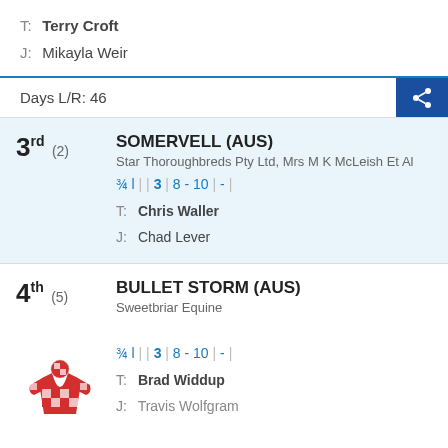T: Terry Croft
J: Mikayla Weir
Days L/R: 46
3rd (2) SOMERVELL (AUS)
Star Thoroughbreds Pty Ltd, Mrs M K McLeish Et Al
¾ l | 3 | 8 - 10 | - |
T: Chris Waller
J: Chad Lever
4th (5) BULLET STORM (AUS)
Sweetbriar Equine
¾ l | 3 | 8 - 10 | - |
T: Brad Widdup
J: Travis Wolfgram